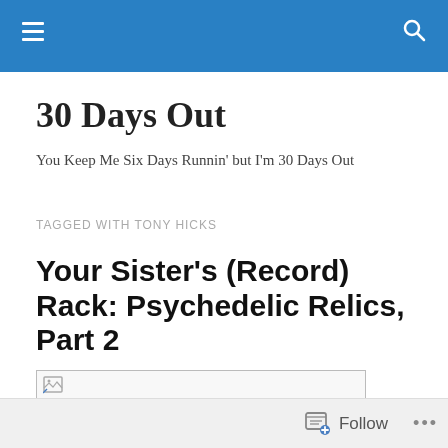30 Days Out [navigation bar with hamburger menu and search icon]
30 Days Out
You Keep Me Six Days Runnin' but I'm 30 Days Out
TAGGED WITH TONY HICKS
Your Sister's (Record) Rack: Psychedelic Relics, Part 2
[Figure (other): Broken image placeholder thumbnail]
Follow ...